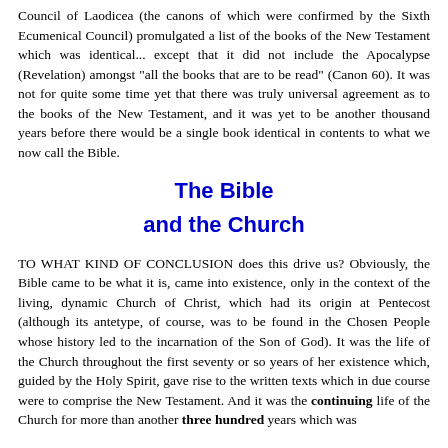Council of Laodicea (the canons of which were confirmed by the Sixth Ecumenical Council) promulgated a list of the books of the New Testament which was identical... except that it did not include the Apocalypse (Revelation) amongst "all the books that are to be read" (Canon 60). It was not for quite some time yet that there was truly universal agreement as to the books of the New Testament, and it was yet to be another thousand years before there would be a single book identical in contents to what we now call the Bible.
The Bible and the Church
TO WHAT KIND OF CONCLUSION does this drive us? Obviously, the Bible came to be what it is, came into existence, only in the context of the living, dynamic Church of Christ, which had its origin at Pentecost (although its antetype, of course, was to be found in the Chosen People whose history led to the incarnation of the Son of God). It was the life of the Church throughout the first seventy or so years of her existence which, guided by the Holy Spirit, gave rise to the written texts which in due course were to comprise the New Testament. And it was the continuing life of the Church for more than another three hundred years which was